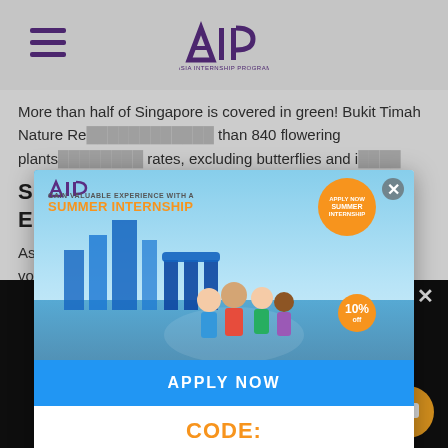AIP - Asia Internship Program
More than half of Singapore is covered in green! Bukit Timah Nature Reserve alone contains more than 840 flowering plants, rates, excluding butterflies and insects.
Singaporeans … British Elections
As Singaporeans … ns, they have voting…
[Figure (screenshot): AIP Summer Internship popup advertisement showing students with Singapore cityscape, APPLY NOW button, and discount code SUMMER2022 with 10% off badge]
This website uses cookies to improve your experience. By using our website you consent to all cookies in accordance with our Cookie Privacy Policy.